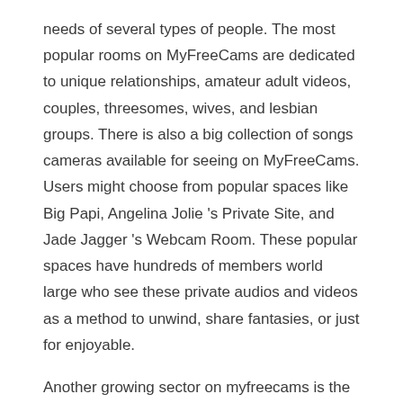needs of several types of people. The most popular rooms on MyFreeCams are dedicated to unique relationships, amateur adult videos, couples, threesomes, wives, and lesbian groups. There is also a big collection of songs cameras available for seeing on MyFreeCams. Users might choose from popular spaces like Big Papi, Angelina Jolie 's Private Site, and Jade Jagger 's Webcam Room. These popular spaces have hundreds of members world large who see these private audios and videos as a method to unwind, share fantasies, or just for enjoyable.
Another growing sector on myfreecams is the adult camera group shows. A private adult camera program can bring a private closer to others while increasing self-esteem.
When you are searching other profiles on the site you will see the names of all the ladies in the webcam room along with their photo. Depending on your settings link you may like to view this design 's photo or video.